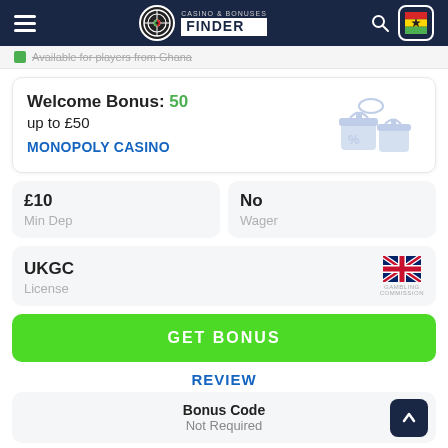Casino & Bonuses Finder
Available for players from Ghana
Welcome Bonus: 50
up to £50
MONOPOLY Casino
£10
Min Dep
No
Wager
UKGC
License
GET BONUS
REVIEW
Bonus Code
Not Required
User feedback